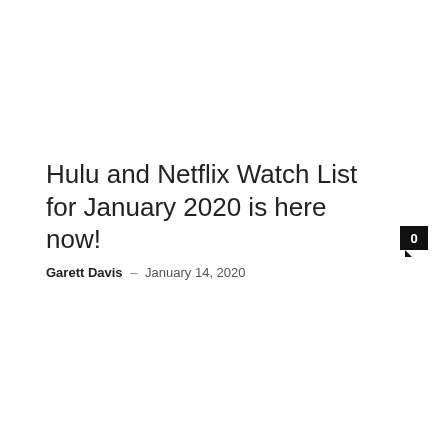Hulu and Netflix Watch List for January 2020 is here now!
Garett Davis – January 14, 2020
0